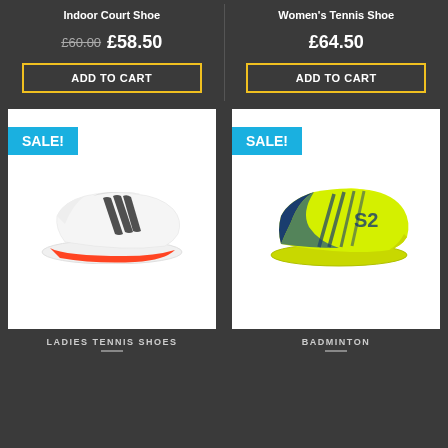Indoor Court Shoe
£60.00 £58.50
ADD TO CART
Women's Tennis Shoe
£64.50
ADD TO CART
[Figure (photo): White Adidas tennis/court shoe with black three stripes and red sole accent, displayed on white background with SALE! badge in cyan]
[Figure (photo): Yellow-green and navy Salming badminton shoe with S2 logo, displayed on white background with SALE! badge in cyan]
LADIES TENNIS SHOES
BADMINTON